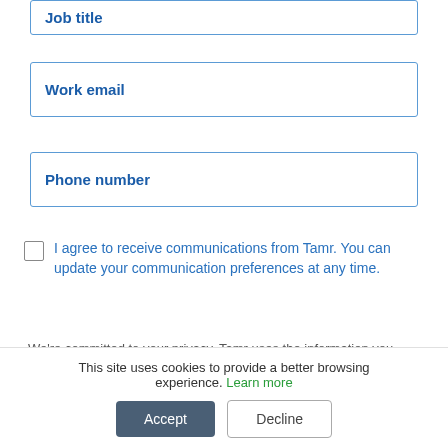Job title
Work email
Phone number
I agree to receive communications from Tamr. You can update your communication preferences at any time.
We're committed to your privacy. Tamr uses the information you provide to contact you about our
This site uses cookies to provide a better browsing experience. Learn more
Accept
Decline